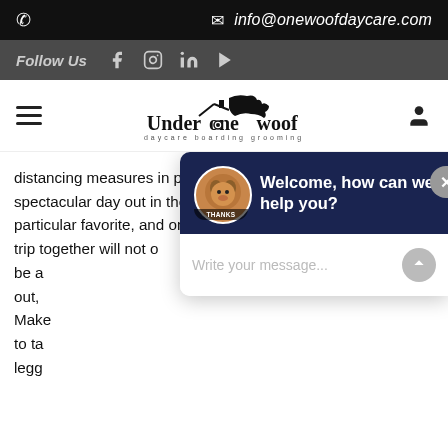📞  ✉ info@onewoofdaycare.com
Follow Us  [Facebook] [Instagram] [LinkedIn] [YouTube]
[Figure (logo): Under One Woof logo with dog silhouette and tagline: daycare boarding grooming]
distancing measures in place, there are lots of ways to enjoy a spectacular day out in the summer sunshine. Hiking is a particular favorite, and one that's well suited to dogs as well. A trip together will not o[nly ...] be a[...] out, [...] Make[...] to ta[ke ...] legg[ed ...]
[Figure (screenshot): Chat widget overlay with dark navy header saying 'Welcome, how can we help you?', a dog avatar with THANKS badge, a close X button, and a 'Write your message...' input field with send button.]